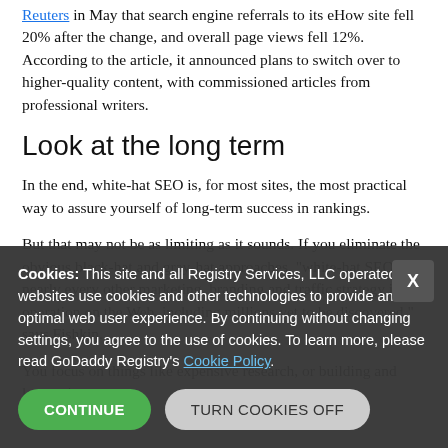Reuters in May that search engine referrals to its eHow site fell 20% after the change, and overall page views fell 12%. According to the article, it announced plans to switch over to higher-quality content, with commissioned articles from professional writers.
Look at the long term
In the end, white-hat SEO is, for most sites, the most practical way to assure yourself of long-term success in rankings.
But that may not be as limiting as it sounds. If you eliminate the obvious black-hat and gray-hat approaches, "white-hat SEO is nearly every other marketing, branding and traffic strategy in operation on the Web, including millions yet to be discovered," says Fishkin.
You focus on things like expensive research, or building and leveraging
Cookies: This site and all Registry Services, LLC operated websites use cookies and other technologies to provide an optimal web user experience. By continuing without changing settings, you agree to the use of cookies. To learn more, please read GoDaddy Registry's Cookie Policy.
CONTINUE
TURN COOKIES OFF